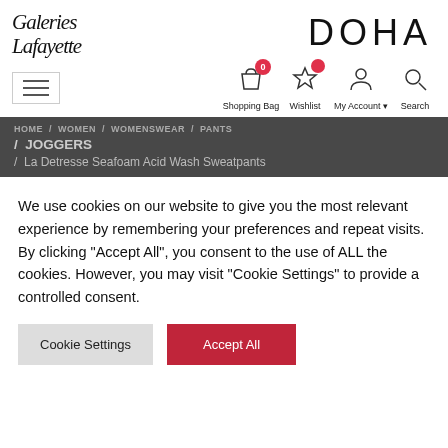[Figure (logo): Galeries Lafayette cursive logo on the left, DOHA text on the right]
[Figure (screenshot): Navigation bar with hamburger menu on left, and icons for Shopping Bag (0), Wishlist, My Account, Search on right]
HOME / WOMEN / WOMENSWEAR / PANTS / JOGGERS / La Detresse Seafoam Acid Wash Sweatpants
We use cookies on our website to give you the most relevant experience by remembering your preferences and repeat visits. By clicking “Accept All”, you consent to the use of ALL the cookies. However, you may visit "Cookie Settings" to provide a controlled consent.
Cookie Settings
Accept All